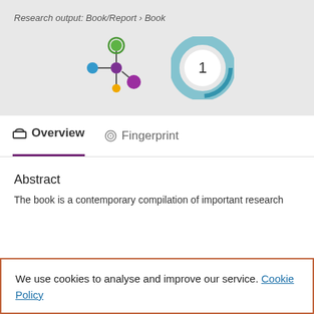Research output: Book/Report › Book
[Figure (logo): Altmetric-style network icon with colored circles (green, blue, orange, purple) connected by lines]
[Figure (logo): Circular donut icon in teal/blue with number 1 in center]
Overview | Fingerprint
Abstract
The book is a contemporary compilation of important research
We use cookies to analyse and improve our service. Cookie Policy